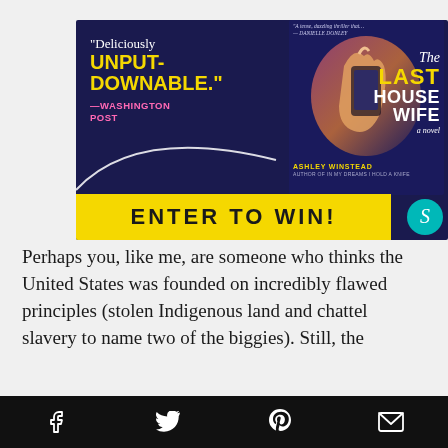[Figure (illustration): Advertisement banner for 'The Last Housewife' by Ashley Winstead. Dark navy background with quote 'Deliciously UNPUTDOWNABLE.' —WASHINGTON POST in white and yellow text on left. Book cover shown on right with yellow and white title text. Bottom has yellow 'ENTER TO WIN!' banner with Scribner logo circle.]
Perhaps you, like me, are someone who thinks the United States was founded on incredibly flawed principles (stolen Indigenous land and chattel slavery to name two of the biggies). Still, the significance of the…to landmark U.S. history is…